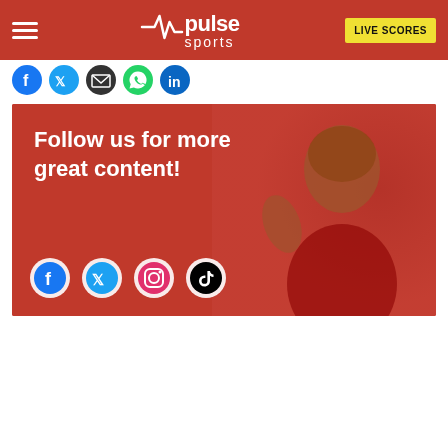Pulse Sports — LIVE SCORES
[Figure (other): Social media share icons row: Facebook, Twitter, Email, WhatsApp, LinkedIn]
[Figure (photo): Promotional banner with red background and smiling athlete. Text: 'Follow us for more great content!' with Facebook, Twitter, Instagram, TikTok icons.]